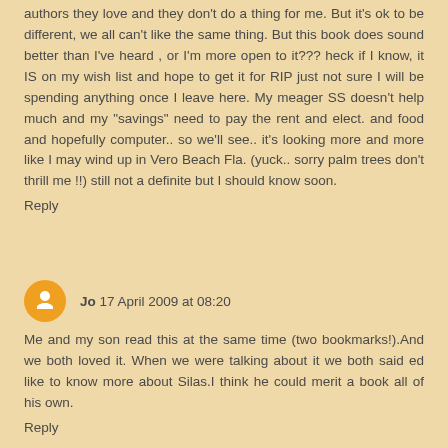authors they love and they don't do a thing for me. But it's ok to be different, we all can't like the same thing. But this book does sound better than I've heard , or I'm more open to it??? heck if I know, it IS on my wish list and hope to get it for RIP just not sure I will be spending anything once I leave here. My meager SS doesn't help much and my "savings" need to pay the rent and elect. and food and hopefully computer.. so we'll see.. it's looking more and more like I may wind up in Vero Beach Fla. (yuck.. sorry palm trees don't thrill me !!) still not a definite but I should know soon.
Reply
Jo 17 April 2009 at 08:20
Me and my son read this at the same time (two bookmarks!).And we both loved it. When we were talking about it we both said ed like to know more about Silas.I think he could merit a book all of his own.
Reply